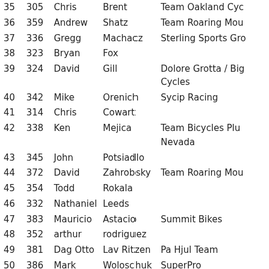| Place | Num | First | Last | Team |
| --- | --- | --- | --- | --- |
| 35 | 305 | Chris | Brent | Team Oakland Cyc… |
| 36 | 359 | Andrew | Shatz | Team Roaring Mou… |
| 37 | 336 | Gregg | Machacz | Sterling Sports Gro… |
| 38 | 323 | Bryan | Fox |  |
| 39 | 324 | David | Gill | Dolore Grotta / Big Cycles |
| 40 | 342 | Mike | Orenich | Sycip Racing |
| 41 | 314 | Chris | Cowart |  |
| 42 | 338 | Ken | Mejica | Team Bicycles Plus Nevada |
| 43 | 345 | John | Potsiadlo |  |
| 44 | 372 | David | Zahrobsky | Team Roaring Mou… |
| 45 | 354 | Todd | Rokala |  |
| 46 | 332 | Nathaniel | Leeds |  |
| 47 | 383 | Mauricio | Astacio | Summit Bikes |
| 48 | 352 | arthur | rodriguez |  |
| 49 | 381 | Dag Otto | Lav Ritzen | Pa Hjul Team |
| 50 | 386 | Mark | Woloschuk | SuperPro |
| 51 | 384 | Detlef | Adam | Bicycle Trip |
| 52 | 341 | Mike | Nettleton |  |
| 53 | 369 | heath | west |  |